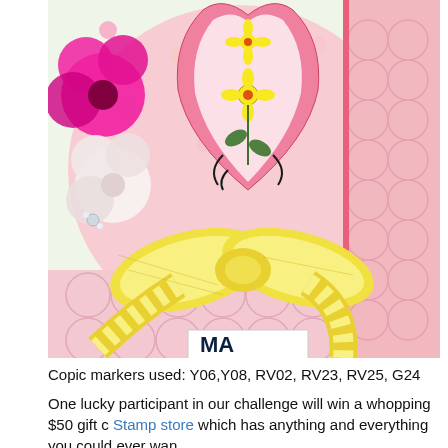[Figure (photo): Close-up photo of a handmade greeting card featuring a pink floral heart motif on a polka-dot background, decorated with pink fabric flowers and a yellow gingham ribbon bow. The card includes embossed pink patterned paper and a partial tag reading 'MA...' at the bottom.]
Copic markers used:  Y06,Y08, RV02, RV23, RV25, G24
One lucky participant in our challenge will win a whopping $50 gift c Stamp store which has anything and everything you could ever wan